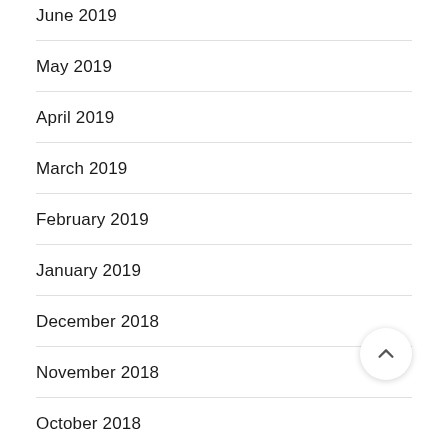June 2019
May 2019
April 2019
March 2019
February 2019
January 2019
December 2018
November 2018
October 2018